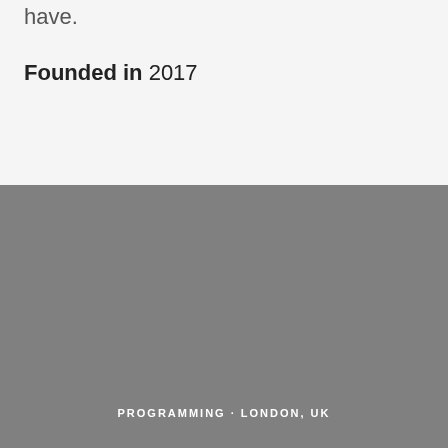have.
Founded in 2017
PROGRAMMING · LONDON, UK
Lead Rendering Engineer
Apply for this job
Do you have prior experience working